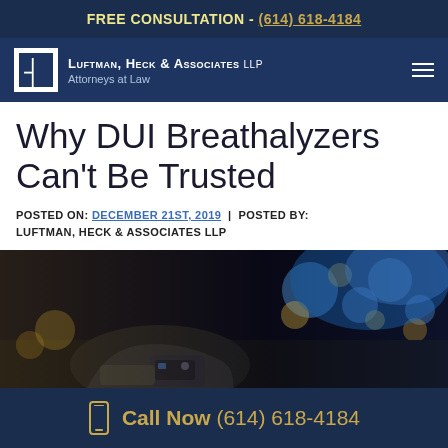FREE CONSULTATION - (614) 618-4184
Luftman, Heck & Associates LLP | Attorneys at Law
Why DUI Breathalyzers Can't Be Trusted
POSTED ON: DECEMBER 21ST, 2019  |  POSTED BY: LUFTMAN, HECK & ASSOCIATES LLP
[Figure (photo): Close-up of a hand holding a breathalyzer device with police lights in the background at night]
Call Now (614) 618-4184